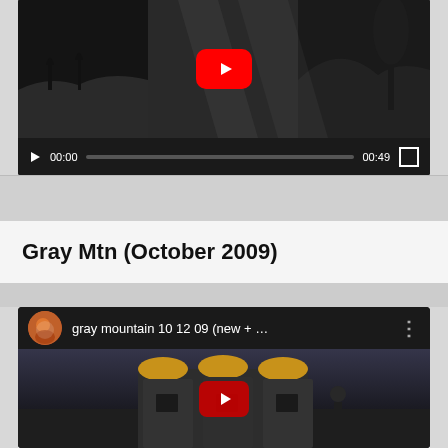[Figure (screenshot): YouTube video player showing a desert/Joshua Tree landscape video with play button overlay. Controls bar shows 00:00 current time, progress bar, 00:49 total duration, and fullscreen button.]
Gray Mtn (October 2009)
[Figure (screenshot): YouTube embedded video card showing 'gray mountain 10 12 09 (new + ...' with channel avatar, three-dot menu, and video thumbnail of a building/silo structure with YouTube play button overlay.]